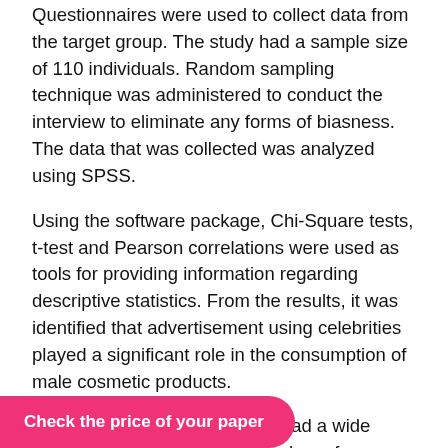Questionnaires were used to collect data from the target group. The study had a sample size of 110 individuals. Random sampling technique was administered to conduct the interview to eliminate any forms of biasness. The data that was collected was analyzed using SPSS.
Using the software package, Chi-Square tests, t-test and Pearson correlations were used as tools for providing information regarding descriptive statistics. From the results, it was identified that advertisement using celebrities played a significant role in the consumption of male cosmetic products.
It was also identified that men had a wide range of cosmetic products to chose from. Finally, it was identified that the income levels of men did not affect the consumption patterns of cosmetic ...was concluded that ...ne cosmetic
Check the price of your paper